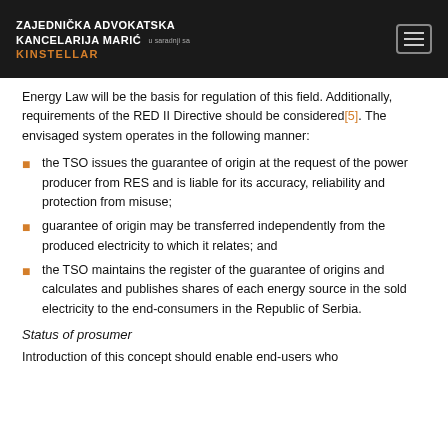ZAJEDNIČKA ADVOKATSKA KANCELARIJA MARIĆ u saradnji sa KINSTELLAR
Energy Law will be the basis for regulation of this field. Additionally, requirements of the RED II Directive should be considered[5]. The envisaged system operates in the following manner:
the TSO issues the guarantee of origin at the request of the power producer from RES and is liable for its accuracy, reliability and protection from misuse;
guarantee of origin may be transferred independently from the produced electricity to which it relates; and
the TSO maintains the register of the guarantee of origins and calculates and publishes shares of each energy source in the sold electricity to the end-consumers in the Republic of Serbia.
Status of prosumer
Introduction of this concept should enable end-users who